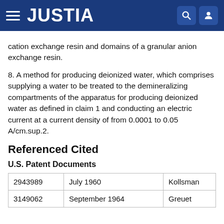JUSTIA
cation exchange resin and domains of a granular anion exchange resin.
8. A method for producing deionized water, which comprises supplying a water to be treated to the demineralizing compartments of the apparatus for producing deionized water as defined in claim 1 and conducting an electric current at a current density of from 0.0001 to 0.05 A/cm.sup.2.
Referenced Cited
U.S. Patent Documents
|  |  |  |
| --- | --- | --- |
| 2943989 | July 1960 | Kollsman |
| 3149062 | September 1964 | Greuet |